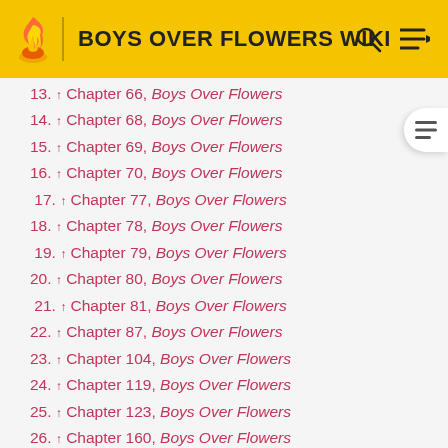BOYS OVER FLOWERS WIKI
13. ↑ Chapter 66, Boys Over Flowers
14. ↑ Chapter 68, Boys Over Flowers
15. ↑ Chapter 69, Boys Over Flowers
16. ↑ Chapter 70, Boys Over Flowers
17. ↑ Chapter 77, Boys Over Flowers
18. ↑ Chapter 78, Boys Over Flowers
19. ↑ Chapter 79, Boys Over Flowers
20. ↑ Chapter 80, Boys Over Flowers
21. ↑ Chapter 81, Boys Over Flowers
22. ↑ Chapter 87, Boys Over Flowers
23. ↑ Chapter 104, Boys Over Flowers
24. ↑ Chapter 119, Boys Over Flowers
25. ↑ Chapter 123, Boys Over Flowers
26. ↑ Chapter 160, Boys Over Flowers
27. ↑ Chapter 167, Boys Over Flowers
28. ↑ Chapter 190, Boys Over Flowers
29. ↑ Chapter 240, Boys Over Flowers
30. ↑ Chapter 242, Boys Over Flowers